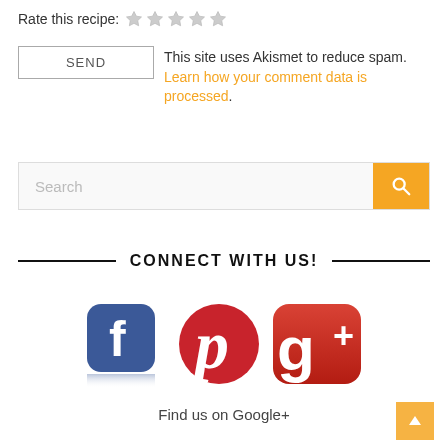Rate this recipe: ★ ★ ★ ★ ★
SEND  This site uses Akismet to reduce spam. Learn how your comment data is processed.
[Figure (other): Search bar with yellow search button and magnifying glass icon]
CONNECT WITH US!
[Figure (other): Social media icons: Facebook (blue rounded square with f), Pinterest (red circle with P), Google+ (red rounded square with g+)]
Find us on Google+